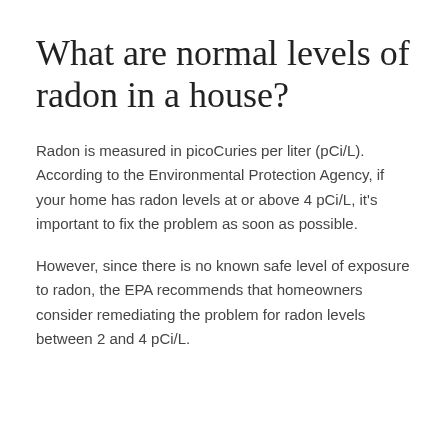What are normal levels of radon in a house?
Radon is measured in picoCuries per liter (pCi/L). According to the Environmental Protection Agency, if your home has radon levels at or above 4 pCi/L, it's important to fix the problem as soon as possible.
However, since there is no known safe level of exposure to radon, the EPA recommends that homeowners consider remediating the problem for radon levels between 2 and 4 pCi/L.